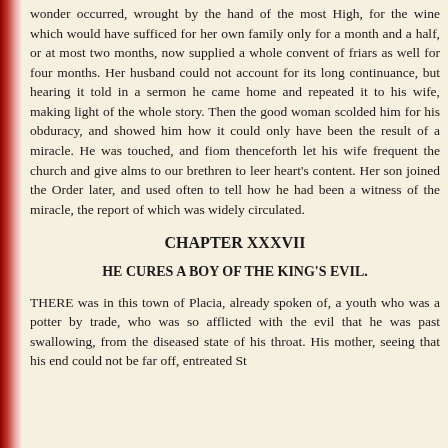wonder occurred, wrought by the hand of the most High, for the wine which would have sufficed for her own family only for a month and a half, or at most two months, now supplied a whole convent of friars as well for four months. Her husband could not account for its long continuance, but hearing it told in a sermon he came home and repeated it to his wife, making light of the whole story. Then the good woman scolded him for his obduracy, and showed him how it could only have been the result of a miracle. He was touched, and fiom thenceforth let his wife frequent the church and give alms to our brethren to leer heart's content. Her son joined the Order later, and used often to tell how he had been a witness of the miracle, the report of which was widely circulated.
CHAPTER XXXVII
HE CURES A BOY OF THE KING'S EVIL.
THERE was in this town of Placia, already spoken of, a youth who was a potter by trade, who was so afflicted with the evil that he was past swallowing, from the diseased state of his throat. His mother, seeing that his end could not be far off, entreated St